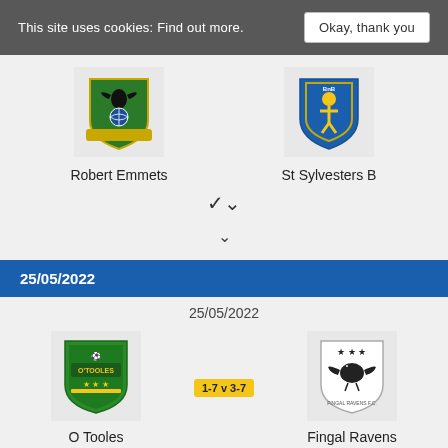This site uses cookies: Find out more.   Okay, thank you
Robert Emmets
St Sylvesters B
▾
25/05/2022
25/05/2022
[Figure (logo): O Tooles GAA club crest - green shield with text]
[Figure (logo): Fingal Ravens GAA club crest - black and white bird]
O Tooles
1-7 v 3-7
Fingal Ravens
▾
25/05/2022